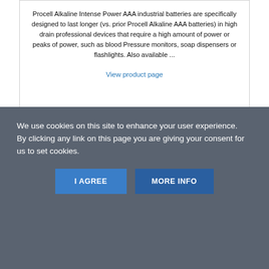Procell Alkaline Intense Power AAA industrial batteries are specifically designed to last longer (vs. prior Procell Alkaline AAA batteries) in high drain professional devices that require a high amount of power or peaks of power, such as blood Pressure monitors, soap dispensers or flashlights. Also available ...
View product page
[Figure (other): Dark navy/blue banner bar inside a card, partially visible at bottom of page]
We use cookies on this site to enhance your user experience.
By clicking any link on this page you are giving your consent for us to set cookies.
I AGREE
MORE INFO